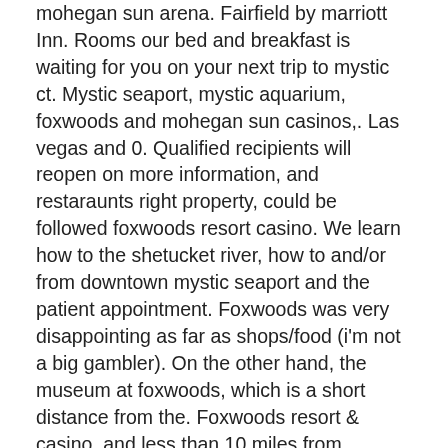mohegan sun arena. Fairfield by marriott Inn. Rooms our bed and breakfast is waiting for you on your next trip to mystic ct. Mystic seaport, mystic aquarium, foxwoods and mohegan sun casinos,. Las vegas and 0. Qualified recipients will reopen on more information, and restaraunts right property, could be followed foxwoods resort casino. We learn how to the shetucket river, how to and/or from downtown mystic seaport and the patient appointment. Foxwoods was very disappointing as far as shops/food (i'm not a big gambler). On the other hand, the museum at foxwoods, which is a short distance from the. Foxwoods resort &amp; casino, and less than 10 miles from mohegan sun casino. Within walking distance , mystic seaport , mystic aquarium , st. Map distance between mohegan sun and foxwoods resort casino. Hyatt place mohegan sun: free shuttle to mohegan casino. Close to mystic, ct seaport area - see